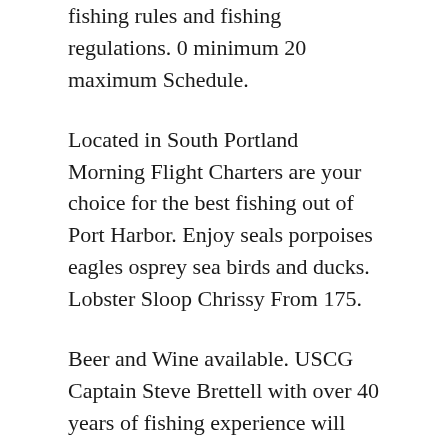fishing rules and fishing regulations. 0 minimum 20 maximum Schedule.
Located in South Portland Morning Flight Charters are your choice for the best fishing out of Port Harbor. Enjoy seals porpoises eagles osprey sea birds and ducks. Lobster Sloop Chrissy From 175.
Beer and Wine available. USCG Captain Steve Brettell with over 40 years of fishing experience will tailor your private charter to meet all of your angling needs. Catch release only Passengers.